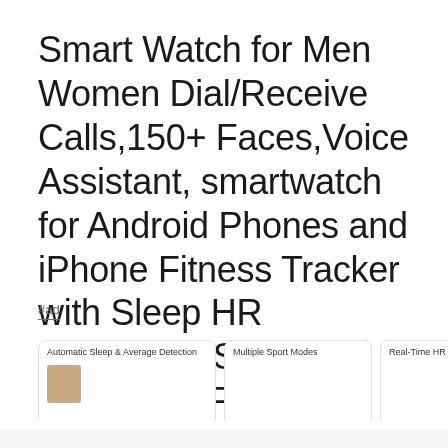Smart Watch for Men Women Dial/Receive Calls,150+ Faces,Voice Assistant, smartwatch for Android Phones and iPhone Fitness Tracker with Sleep HR Monitoring,SMS Reminder,IP67 Waterproof
#ad
[Figure (screenshot): Row of product card thumbnails partially visible, showing smartwatch product listings with titles and images]
As an Amazon Associate I earn from qualifying purchases. This website uses the only necessary cookies to ensure you get the best experience on our website. More information